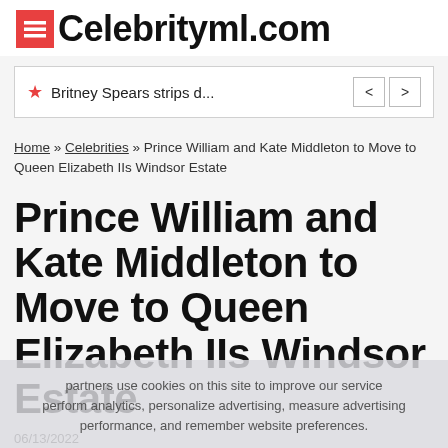CelebrityML.com
Britney Spears strips d...
Home » Celebrities » Prince William and Kate Middleton to Move to Queen Elizabeth IIs Windsor Estate
Prince William and Kate Middleton to Move to Queen Elizabeth IIs Windsor Estate
06/13/2022
partners use cookies on this site to improve our service perform analytics, personalize advertising, measure advertising performance, and remember website preferences.